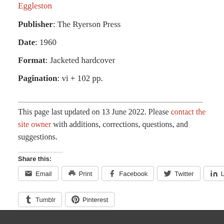Eggleston
Publisher: The Ryerson Press
Date: 1960
Format: Jacketed hardcover
Pagination: vi + 102 pp.
This page last updated on 13 June 2022. Please contact the site owner with additions, corrections, questions, and suggestions.
Share this:
Email | Print | Facebook | Twitter | LinkedIn | Tumblr | Pinterest